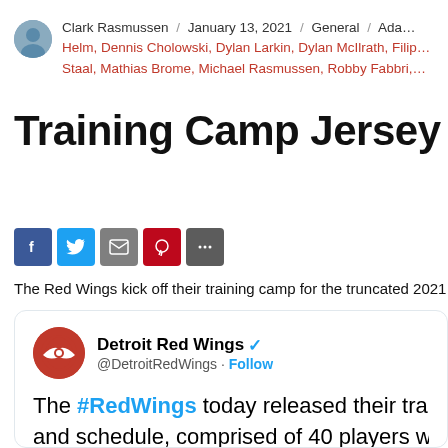Clark Rasmussen / January 13, 2021 / General / Adam Erne, Darren Helm, Dennis Cholowski, Dylan Larkin, Dylan McIlrath, Filip... Staal, Mathias Brome, Michael Rasmussen, Robby Fabbri,...
Training Camp Jersey Nu...
[Figure (infographic): Social sharing buttons: Facebook, Twitter, Email, Pinterest, More]
The Red Wings kick off their training camp for the truncated 2021...
[Figure (screenshot): Embedded tweet from @DetroitRedWings: The #RedWings today released their training camp roster and schedule, comprised of 40 players w... on Friday, Jan. 1 at the BELFOR Trainin... Little Caesars Arena.]